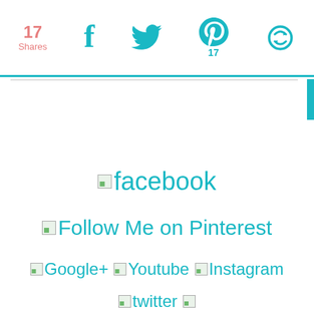17 Shares | facebook | twitter | pinterest (17) | recircle
[Figure (screenshot): Social media share bar with icons for Facebook, Twitter, Pinterest (17 shares), and a recircle/refresh icon. Shows '17 Shares' count in pink/salmon color.]
facebook
Follow Me on Pinterest
Google+   Youtube   Instagram
twitter